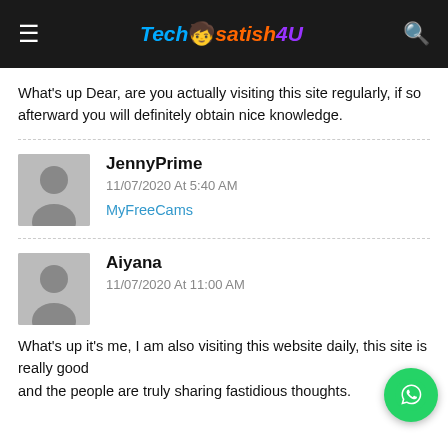TechSatish4U
What's up Dear, are you actually visiting this site regularly, if so afterward you will definitely obtain nice knowledge.
JennyPrime
11/07/2020 At 5:40 AM
MyFreeCams
Aiyana
11/07/2020 At 11:00 AM
What's up it's me, I am also visiting this website daily, this site is really good and the people are truly sharing fastidious thoughts.